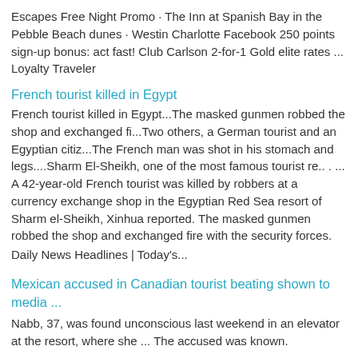Escapes Free Night Promo · The Inn at Spanish Bay in the Pebble Beach dunes · Westin Charlotte Facebook 250 points sign-up bonus: act fast! Club Carlson 2-for-1 Gold elite rates ...
Loyalty Traveler
French tourist killed in Egypt
French tourist killed in Egypt...The masked gunmen robbed the shop and exchanged fi...Two others, a German tourist and an Egyptian citiz...The French man was shot in his stomach and legs....Sharm El-Sheikh, one of the most famous tourist re.. . ... A 42-year-old French tourist was killed by robbers at a currency exchange shop in the Egyptian Red Sea resort of Sharm el-Sheikh, Xinhua reported. The masked gunmen robbed the shop and exchanged fire with the security forces.
Daily News Headlines | Today's...
Mexican accused in Canadian tourist beating shown to media ...
Nabb, 37, was found unconscious last weekend in an elevator at the resort, where she ... The accused was known.